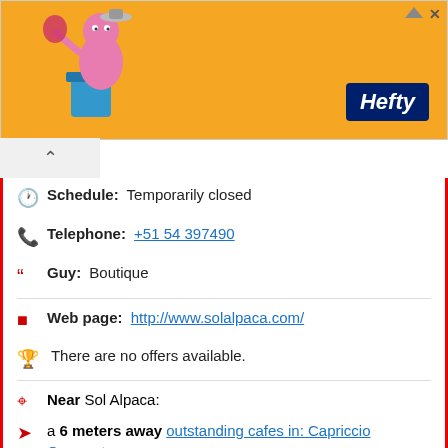[Figure (illustration): Orange advertisement banner with a cartoon pink/purple character holding a trash bag and a blue Hefty trash can. Hefty logo in bottom right. Close and expand icons in top right.]
Schedule: Temporarily closed
Telephone: +51 54 397490
Guy: Boutique
Web page: http://www.solalpaca.com/
There are no offers available.
Near Sol Alpaca:
a 6 meters away outstanding cafes in: Capriccio Gourmet
Are you the owner of the business? PROMOTE IT!
BE THE 1ST IN THE RANKING